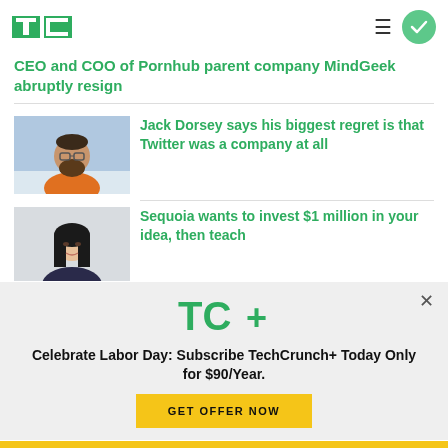TechCrunch
CEO and COO of Pornhub parent company MindGeek abruptly resign
[Figure (photo): Photo of Jack Dorsey, bearded man in orange top]
Jack Dorsey says his biggest regret is that Twitter was a company at all
[Figure (photo): Photo of a woman with black hair, light background]
Sequoia wants to invest $1 million in your idea, then teach
Celebrate Labor Day: Subscribe TechCrunch+ Today Only for $90/Year.
GET OFFER NOW